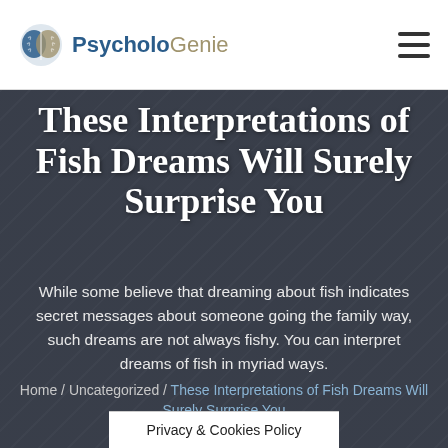PsycholoGenie
[Figure (photo): Dark atmospheric background photo of a person, overlaid with dark semi-transparent color, serving as hero image backdrop]
These Interpretations of Fish Dreams Will Surely Surprise You
While some believe that dreaming about fish indicates secret messages about someone going the family way, such dreams are not always fishy. You can interpret dreams of fish in myriad ways.
Home / Uncategorized / These Interpretations of Fish Dreams Will Surely Surprise You
Privacy & Cookies Policy